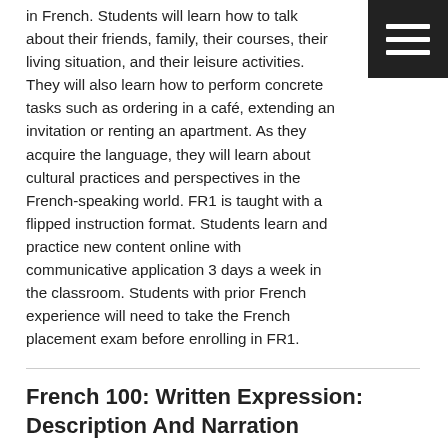in French. Students will learn how to talk about their friends, family, their courses, their living situation, and their leisure activities. They will also learn how to perform concrete tasks such as ordering in a café, extending an invitation or renting an apartment. As they acquire the language, they will learn about cultural practices and perspectives in the French-speaking world. FR1 is taught with a flipped instruction format. Students learn and practice new content online with communicative application 3 days a week in the classroom. Students with prior French experience will need to take the French placement exam before enrolling in FR1.
French 100: Written Expression: Description And Narration
Instructor: Laurence Denié-Higney
The objective of this course is to practice and improve your written expression in French. We are going to carefully read and study four short stories to understand the techniques of